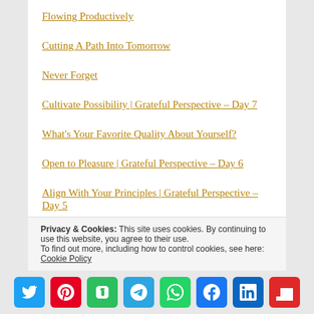Flowing Productively
Cutting A Path Into Tomorrow
Never Forget
Cultivate Possibility | Grateful Perspective – Day 7
What's Your Favorite Quality About Yourself?
Open to Pleasure | Grateful Perspective – Day 6
Align With Your Principles | Grateful Perspective – Day 5
Privacy & Cookies: This site uses cookies. By continuing to use this website, you agree to their use. To find out more, including how to control cookies, see here: Cookie Policy